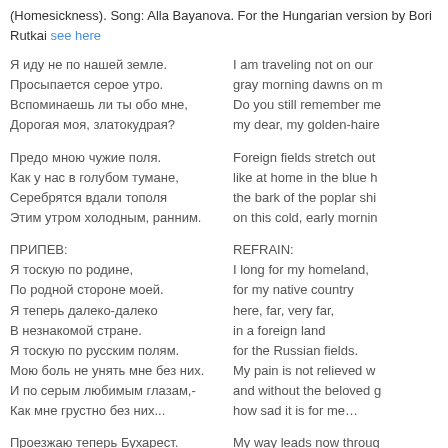(Homesickness). Song: Alla Bayanova. For the Hungarian version by Bori Rutkai see here
Я иду не по нашей земле.
Просыпается серое утро.
Вспоминаешь ли ты обо мне,
Дорогая моя, златокудрая?
I am traveling not on our
gray morning dawns on m
Do you still remember me
my dear, my golden-haire
Предо мною чужие поля.
Как у нас в голубом тумане,
Серебрятся вдали тополя
Этим утром холодным, ранним.
Foreign fields stretch out
like at home in the blue h
the bark of the poplar shi
on this cold, early mornin
ПРИПЕВ:
Я тоскую по родине,
По родной стороне моей.
Я теперь далеко-далеко
В незнакомой стране.
Я тоскую по русским полям.
Мою боль не унять мне без них.
И по серым любимым глазам,-
Как мне грустно без них...
REFRAIN:
I long for my homeland,
for my native country
here, far, very far,
in a foreign land
for the Russian fields.
My pain is not relieved w
and without the beloved g
how sad it is for me…
Проезжаю теперь Бухарест.
Всюду слышу я речь неродную.
My way leads now throug
I hear foreign speech eve